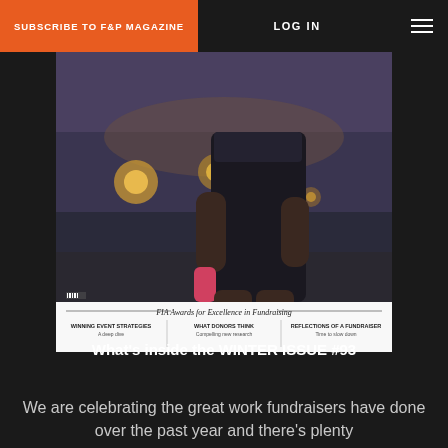SUBSCRIBE TO F&P MAGAZINE   LOG IN   ☰
[Figure (photo): Magazine cover showing a woman in a black swimsuit standing outdoors at dusk, holding a pink object. Cover text includes 'FIA Awards for Excellence in Fundraising', 'WINNING EVENT STRATEGIES - A deep dive', 'WHAT DONORS THINK - Compelling new research', 'REFLECTIONS OF A FUNDRAISER - Time to slow down']
What's inside the WINTER ISSUE #93
We are celebrating the great work fundraisers have done over the past year and there's plenty